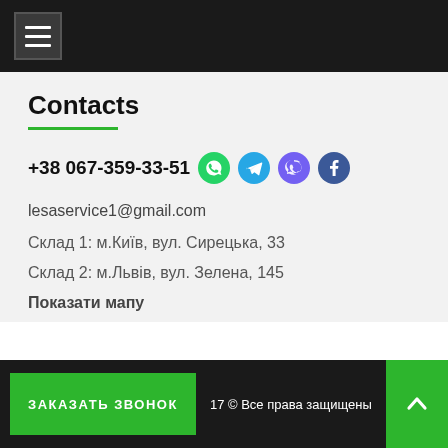☰ (menu icon)
Contacts
+38 067-359-33-51
lesaservice1@gmail.com
Склад 1: м.Київ, вул. Сирецька, 33
Склад 2: м.Львів, вул. Зелена, 145
Показати мапу
ЗАКАЗАТЬ ЗВОНОК | 17 © Все права защищены